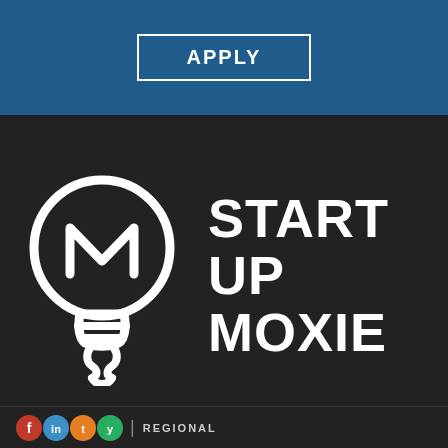APPLY
[Figure (logo): Startup Moxie logo: lightbulb with stylized M crown inside, white outline on dark background, with text STARTUP MOXIE in bold white letters]
REGIONAL